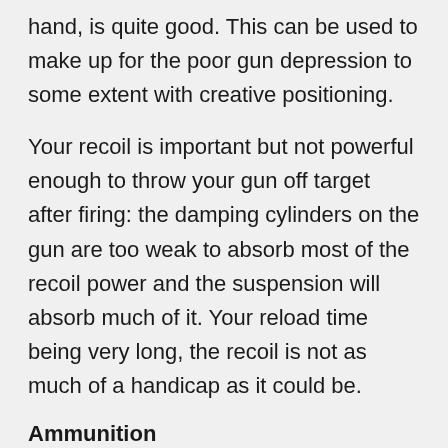hand, is quite good. This can be used to make up for the poor gun depression to some extent with creative positioning.
Your recoil is important but not powerful enough to throw your gun off target after firing: the damping cylinders on the gun are too weak to absorb most of the recoil power and the suspension will absorb much of it. Your reload time being very long, the recoil is not as much of a handicap as it could be.
Ammunition
The available choice of ammunition focuses on heavily armoured targets:
BR-471: APHE; an armour-piercing shell with high explosive mass and high muzzle velocity that will one-shot any tank that it penetrates.